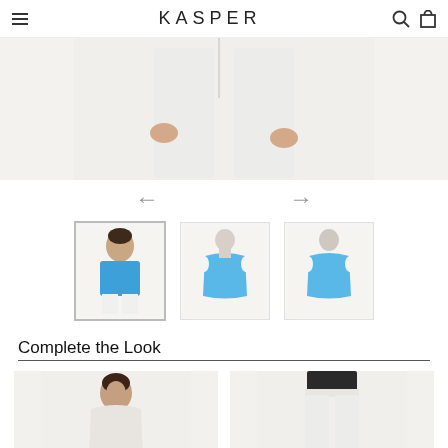KASPER
[Figure (photo): Close-up of model's torso wearing white wide-leg pants, hands visible at sides]
[Figure (photo): Navigation arrows (left and right) for image carousel]
[Figure (photo): Three product thumbnail images: front view of model in blue sleeveless top with white pants, front sketch/ghost mannequin view of blue sleeveless top, back view of blue sleeveless top on ghost mannequin]
Complete the Look
[Figure (photo): Two product images side by side: left shows model wearing a top, right shows white pants on model]